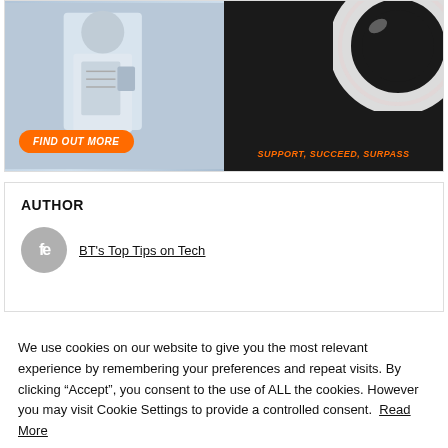[Figure (photo): Split promotional image: left side shows a doctor/professional in white coat with a clipboard, with an orange 'FIND OUT MORE' button overlay; right side shows a ring light on dark background with orange italic text 'SUPPORT, SUCCEED, SURPASS']
AUTHOR
BT's Top Tips on Tech
We use cookies on our website to give you the most relevant experience by remembering your preferences and repeat visits. By clicking “Accept”, you consent to the use of ALL the cookies. However you may visit Cookie Settings to provide a controlled consent. Read More
Cookie settings
Accept